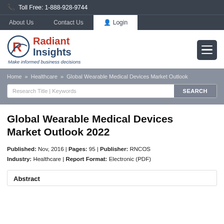Toll Free: 1-888-928-9744
About Us | Contact Us | Login
[Figure (logo): Radiant Insights logo with red R and dark blue text. Tagline: Make informed business decisions]
Home » Healthcare » Global Wearable Medical Devices Market Outlook
Global Wearable Medical Devices Market Outlook 2022
Published: Nov, 2016 | Pages: 95 | Publisher: RNCOS
Industry: Healthcare | Report Format: Electronic (PDF)
Abstract